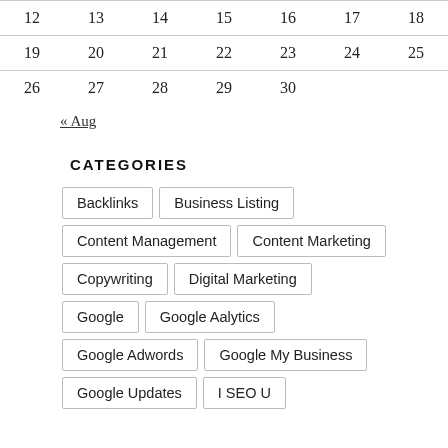| 12 | 13 | 14 | 15 | 16 | 17 | 18 |
| 19 | 20 | 21 | 22 | 23 | 24 | 25 |
| 26 | 27 | 28 | 29 | 30 |  |  |
« Aug
CATEGORIES
Backlinks
Business Listing
Content Management
Content Marketing
Copywriting
Digital Marketing
Google
Google Aalytics
Google Adwords
Google My Business
Google Updates
I SEO U